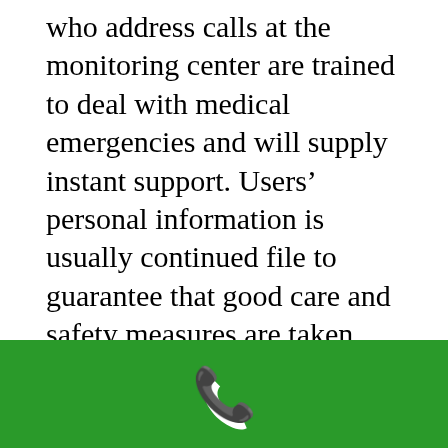who address calls at the monitoring center are trained to deal with medical emergencies and will supply instant support. Users' personal information is usually continued file to guarantee that good care and safety measures are taken when reacting to medical issues or emergency situations.
Where can i buy a Personal Emergency
[Figure (other): Green bar at bottom of page with white phone/call icon in the center]